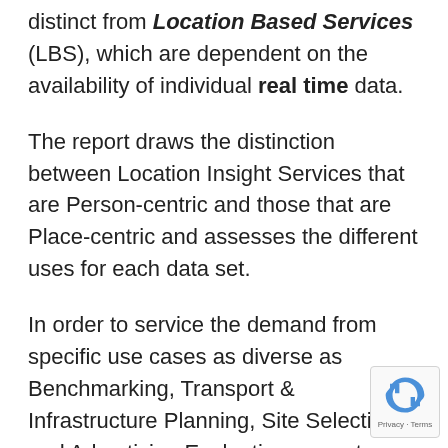distinct from Location Based Services (LBS), which are dependent on the availability of individual real time data.
The report draws the distinction between Location Insight Services that are Person-centric and those that are Place-centric and assesses the different uses for each data set.
In order to service the demand from specific use cases as diverse as Benchmarking, Transport & Infrastructure Planning, Site Selection and Advertising Evaluation, operators face a choice between fulfilling the role of Data Supplier, providing the market with Raw Big Data or offering Professional Services, adding value